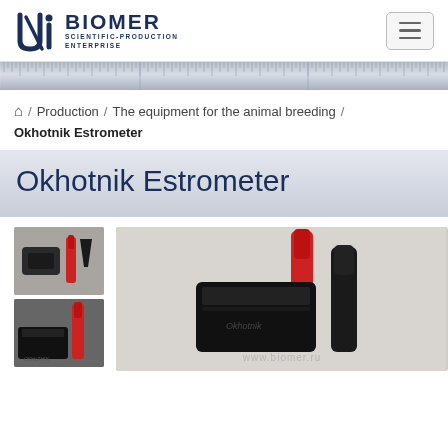[Figure (logo): Biomer Scientific-Production Enterprise logo with stylized U/i monogram in dark navy blue]
Navigation hamburger menu button
[Figure (infographic): Horizontal ruler/scale bar with tick marks, gradient gray background]
/ Production / The equipment for the animal breeding / Okhotnik Estrometer
Okhotnik Estrometer
[Figure (photo): Thumbnail photo of Okhotnik Estrometer device kit with black carry case and red probe]
[Figure (photo): Thumbnail photo of Okhotnik Estrometer showing black pouch and red rod component]
[Figure (photo): Large main photo of Okhotnik Estrometer device with red probe and black bag on light background, watermark www.biomer.ru]